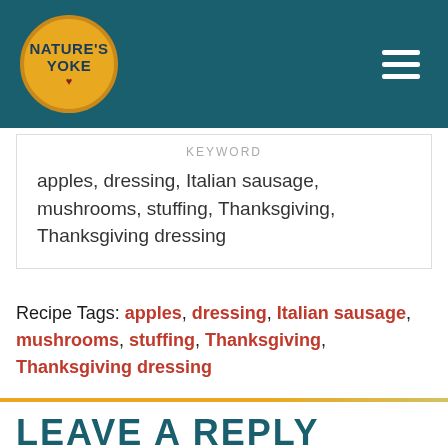[Figure (logo): Nature's Yoke logo: yellow circle with dark blue text reading NATURE'S YOKE with a small heart, on a teal header bar with hamburger menu icon on the right]
| KEYWORD |
| --- |
| apples, dressing, Italian sausage, mushrooms, stuffing, Thanksgiving, Thanksgiving dressing |
Recipe Tags: apples, dressing, Italian sausage, mushrooms, stuffing, Thanksgiving, Thanksgiving dressing
LEAVE A REPLY